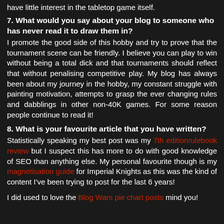have little interest in the tabletop game itself.
7. What would you say about your blog to someone who has never read it to draw them in?
I promote the good side of this hobby and try to prove that the tournament scene can be friendly. I believe you can play to win without being a total dick and that tournaments should reflect that without penalising competitive play. My blog has always been about my journey in the hobby, my constant struggle with painting motivation, attempts to grasp the ever changing rules and dabblings in other non-40K games. For some reason people continue to read it!
8. What is your favourite article that you have written?
Statistically speaking my best post was my 7th editionrulebook review but I suspect this has more to do with good knowledge of SEO than anything else. My personal favourite though is my magnetisation guide for Imperial Knights as this was the kind of content I've been trying to post for the last 6 years!
I did used to love the Blog Wars pie chart posts mind you!